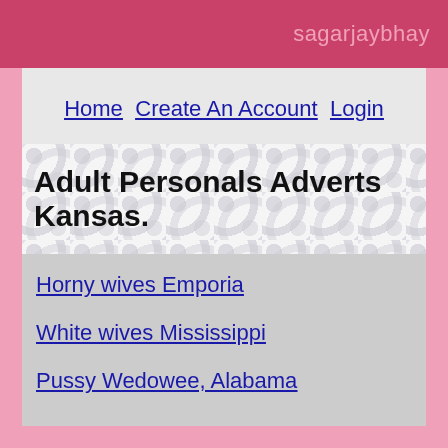sagarjaybhay
Home  Create An Account  Login
Adult Personals Adverts Kansas.
Horny wives Emporia
White wives Mississippi
Pussy Wedowee, Alabama